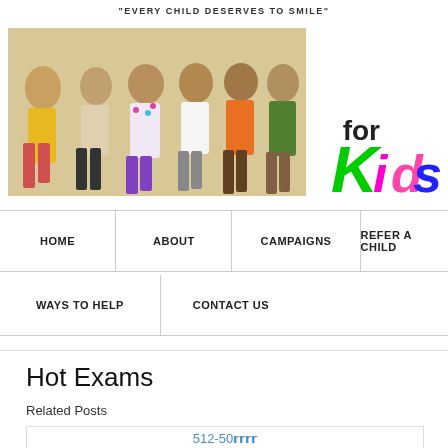[Figure (logo): Save for Kids charity logo with large grey SAVE text, children photo, and colorful Kids script text. Tagline: EVERY CHILD DESERVES TO SMILE]
HOME
ABOUT
CAMPAIGNS
REFER A CHILD
WAYS TO HELP
CONTACT US
Hot Exams
Related Posts
512-50𝗿𝗿𝗿𝗿